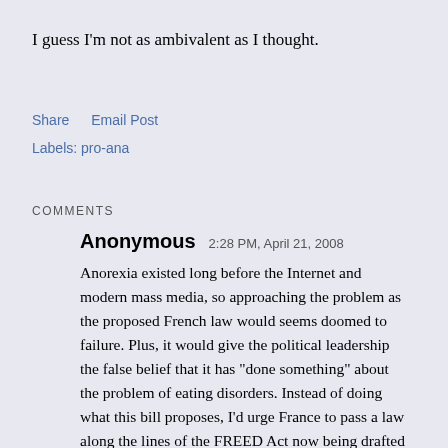I guess I'm not as ambivalent as I thought.
Share   Email Post
Labels: pro-ana
COMMENTS
Anonymous  2:28 PM, April 21, 2008
Anorexia existed long before the Internet and modern mass media, so approaching the problem as the proposed French law would seems doomed to failure. Plus, it would give the political leadership the false belief that it has "done something" about the problem of eating disorders. Instead of doing what this bill proposes, I'd urge France to pass a law along the lines of the FREED Act now being drafted for the US Congress. Details at the Eating Disorders Coalition website. FREED will be a